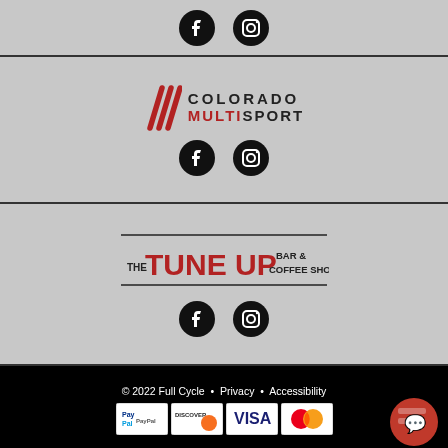[Figure (logo): Social media icons (Facebook and Instagram) for top section]
[Figure (logo): Colorado Multisport logo with red slash marks and text]
[Figure (logo): Social media icons (Facebook and Instagram) for Colorado Multisport]
[Figure (logo): The Tune Up Bar & Coffee Shop logo]
[Figure (logo): Social media icons (Facebook and Instagram) for The Tune Up]
© 2022 Full Cycle • Privacy • Accessibility
[Figure (logo): Payment method icons: PayPal, Discover, Visa, Mastercard]